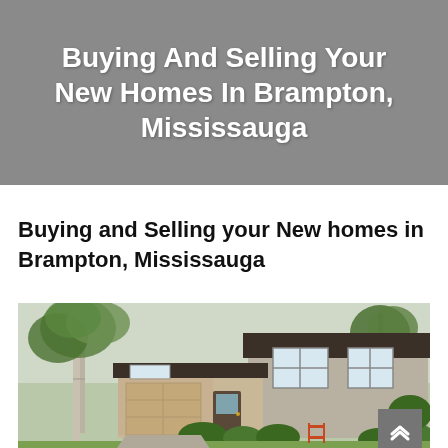Buying And Selling Your New Homes In Brampton, Mississauga
Buying and Selling your New homes in Brampton, Mississauga
[Figure (photo): Exterior photo of a suburban split-level house with brick facade, attached garage, white siding, large trees in front yard, and shrubs along the foundation.]